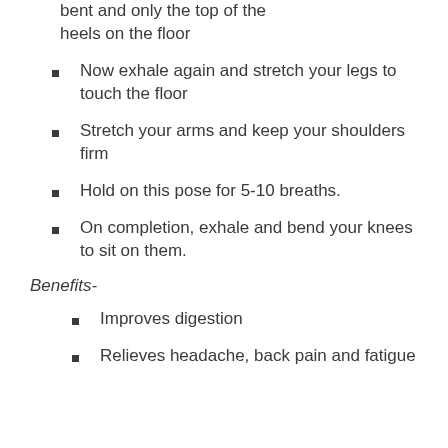bent and only the top of the heels on the floor
Now exhale again and stretch your legs to touch the floor
Stretch your arms and keep your shoulders firm
Hold on this pose for 5-10 breaths.
On completion, exhale and bend your knees to sit on them.
Benefits-
Improves digestion
Relieves headache, back pain and fatigue